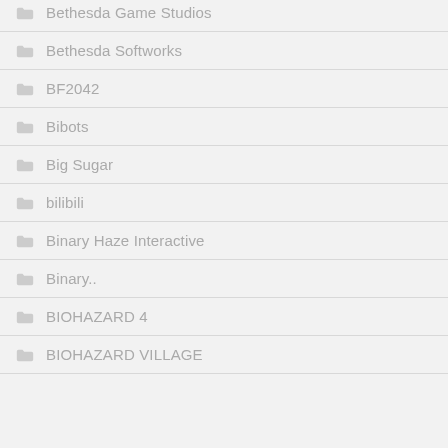Bethesda Game Studios
Bethesda Softworks
BF2042
Bibots
Big Sugar
bilibili
Binary Haze Interactive
Binary..
BIOHAZARD 4
BIOHAZARD VILLAGE